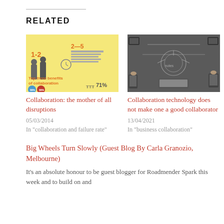RELATED
[Figure (infographic): Colorful infographic about collaboration with yellow background, showing statistics like 1-2, 2-5, 71%, and 'Top three benefits of collaboration']
Collaboration: the mother of all disruptions
05/03/2014
In "collaboration and failure rate"
[Figure (photo): Overhead photo of people around a dark table with devices and chalk drawings/diagrams on a blackboard surface]
Collaboration technology does not make one a good collaborator
13/04/2021
In "business collaboration"
Big Wheels Turn Slowly (Guest Blog By Carla Granozio, Melbourne)
It's an absolute honour to be guest blogger for Roadmender Spark this week and to build on and